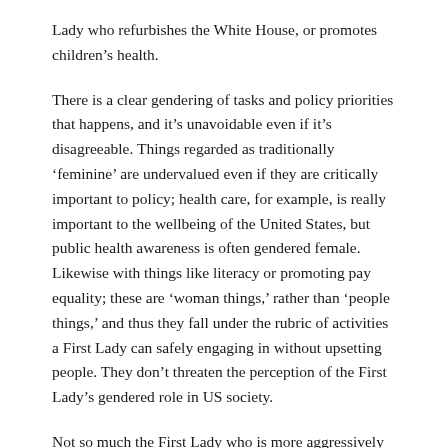Lady who refurbishes the White House, or promotes children's health.
There is a clear gendering of tasks and policy priorities that happens, and it's unavoidable even if it's disagreeable. Things regarded as traditionally 'feminine' are undervalued even if they are critically important to policy; health care, for example, is really important to the wellbeing of the United States, but public health awareness is often gendered female. Likewise with things like literacy or promoting pay equality; these are 'woman things,' rather than 'people things,' and thus they fall under the rubric of activities a First Lady can safely engaging in without upsetting people. They don't threaten the perception of the First Lady's gendered role in US society.
Not so much the First Lady who is more aggressively and directly involved in foreign policy or significant domestic policy issues like health care reform. Hillary Clinton was often criticised during her time in the White House for the nature of the projects she undertook, and for her refusal to be quiet and ladylike. In her own way, she had a lot in common with Eleanor Roosevelt, including the